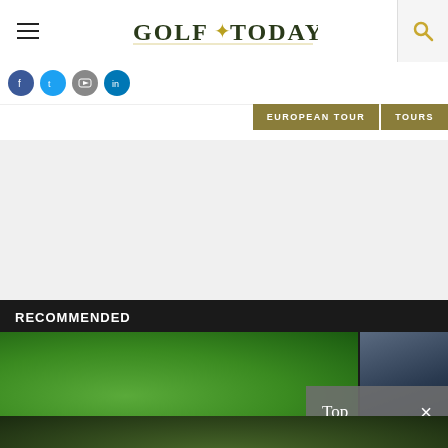GOLF TODAY
EUROPEAN TOUR  TOURS
RECOMMENDED
[Figure (photo): Golf green photo showing grass and golf club/flag in dark background]
Top  ×